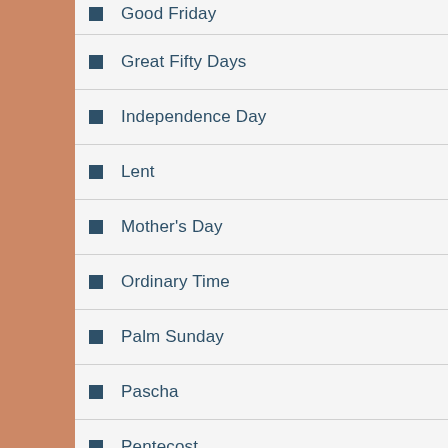Good Friday
Great Fifty Days
Independence Day
Lent
Mother's Day
Ordinary Time
Palm Sunday
Pascha
Pentecost
Reformation Sunday
Saint Francis
Saint Mary the Virgin
Saint Patrick